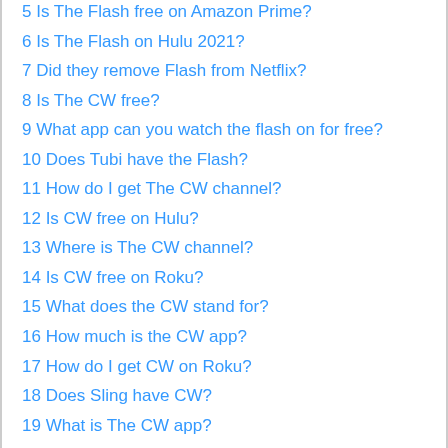5 Is The Flash free on Amazon Prime?
6 Is The Flash on Hulu 2021?
7 Did they remove Flash from Netflix?
8 Is The CW free?
9 What app can you watch the flash on for free?
10 Does Tubi have the Flash?
11 How do I get The CW channel?
12 Is CW free on Hulu?
13 Where is The CW channel?
14 Is CW free on Roku?
15 What does the CW stand for?
16 How much is the CW app?
17 How do I get CW on Roku?
18 Does Sling have CW?
19 What is The CW app?